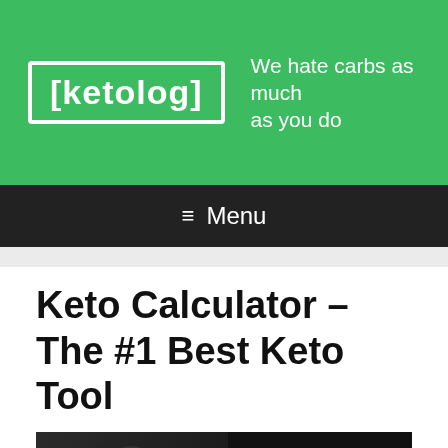[ketolog] We hate carbs as much as you do
≡ Menu
Keto Calculator – The #1 Best Keto Tool
[Figure (photo): Dark background image with a woman in black and white on the left, and bold white text 'THE KETO CALCULATOR' on the right with a green bar at the bottom]